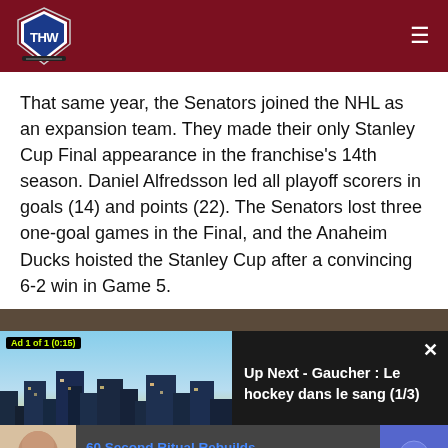THW (The Hockey Writers logo)
That same year, the Senators joined the NHL as an expansion team. They made their only Stanley Cup Final appearance in the franchise's 14th season. Daniel Alfredsson led all playoff scorers in goals (14) and points (22). The Senators lost three one-goal games in the Final, and the Anaheim Ducks hoisted the Stanley Cup after a convincing 6-2 win in Game 5.
[Figure (screenshot): Video player overlay showing an ad panel with a cityscape image labeled 'Ad 1 of 1 (0:15)' on the left and a dark 'Up Next - Gaucher : Le hockey dans le sang (1/3)' panel on the right with a close button.]
[Figure (screenshot): Bottom advertisement banner showing '60 Second Ritual Rebuilds' with 'n/a' subtitle and a blue arrow play button.]